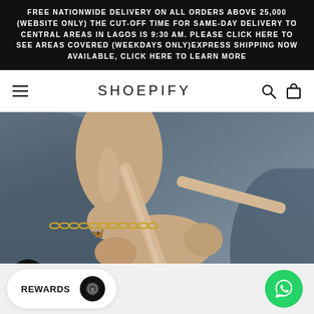FREE NATIONWIDE DELIVERY ON ALL ORDERS ABOVE 25,000 (WEBSITE ONLY) THE CUT-OFF TIME FOR SAME-DAY DELIVERY TO CENTRAL AREAS IN LAGOS IS 9:30 AM. PLEASE CLICK HERE TO SEE AREAS COVERED (WEEKDAYS ONLY)EXPRESS SHIPPING NOW AVAILABLE, CLICK HERE TO LEARN MORE
SHOEPIFY
[Figure (photo): Close-up photo of a person's foot and ankle wearing a gold chain anklet with a pink butterfly charm, and a beige/nude flat sandal. Background is dark grey fabric.]
REWARDS